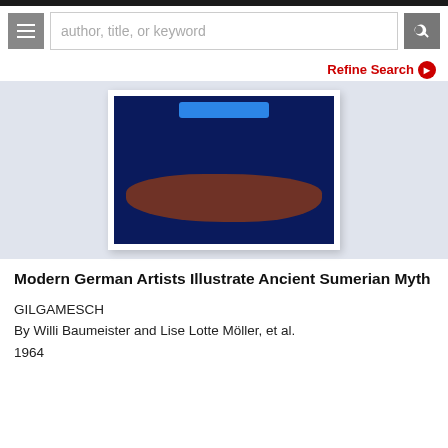author, title, or keyword
[Figure (photo): Book cover for Gilgamesch: dark navy blue background with a bright blue horizontal highlight near the top and a rust/brown organic shape in the center-lower area. The cover is displayed on a white mat/backing against a light blue-grey background.]
Modern German Artists Illustrate Ancient Sumerian Myth
GILGAMESCH
By Willi Baumeister and Lise Lotte Möller, et al.
1964